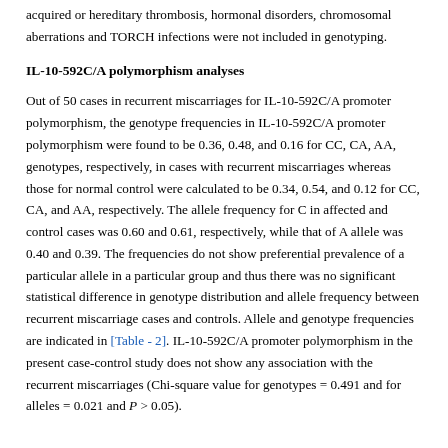acquired or hereditary thrombosis, hormonal disorders, chromosomal aberrations and TORCH infections were not included in genotyping.
IL-10-592C/A polymorphism analyses
Out of 50 cases in recurrent miscarriages for IL-10-592C/A promoter polymorphism, the genotype frequencies in IL-10-592C/A promoter polymorphism were found to be 0.36, 0.48, and 0.16 for CC, CA, AA, genotypes, respectively, in cases with recurrent miscarriages whereas those for normal control were calculated to be 0.34, 0.54, and 0.12 for CC, CA, and AA, respectively. The allele frequency for C in affected and control cases was 0.60 and 0.61, respectively, while that of A allele was 0.40 and 0.39. The frequencies do not show preferential prevalence of a particular allele in a particular group and thus there was no significant statistical difference in genotype distribution and allele frequency between recurrent miscarriage cases and controls. Allele and genotype frequencies are indicated in [Table - 2]. IL-10-592C/A promoter polymorphism in the present case-control study does not show any association with the recurrent miscarriages (Chi-square value for genotypes = 0.491 and for alleles = 0.021 and P > 0.05).